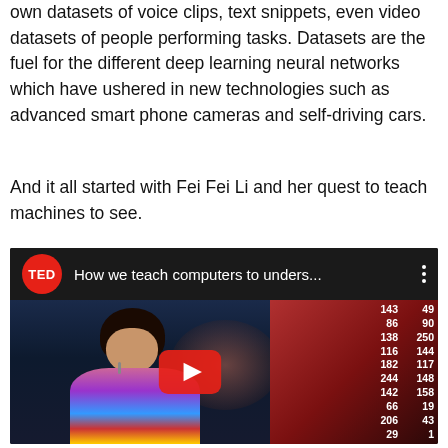own datasets of voice clips, text snippets, even video datasets of people performing tasks. Datasets are the fuel for the different deep learning neural networks which have ushered in new technologies such as advanced smart phone cameras and self-driving cars.
And it all started with Fei Fei Li and her quest to teach machines to see.
[Figure (screenshot): YouTube video thumbnail showing a TED talk titled 'How we teach computers to unders...' with a woman on stage against a background showing columns of numbers. A red YouTube play button is visible in the center.]